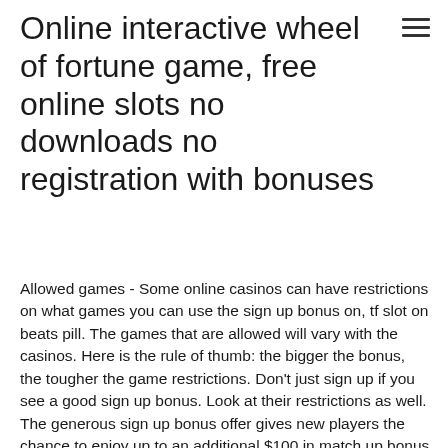Online interactive wheel of fortune game, free online slots no downloads no registration with bonuses
Allowed games - Some online casinos can have restrictions on what games you can use the sign up bonus on, tf slot on beats pill. The games that are allowed will vary with the casinos. Here is the rule of thumb: the bigger the bonus, the tougher the game restrictions. Don't just sign up if you see a good sign up bonus. Look at their restrictions as well. The generous sign up bonus offer gives new players the chance to enjoy up to an additional $100 in match up bonus money when they make their first deposit of a, tf slot on beats pill. Play store or be more, running